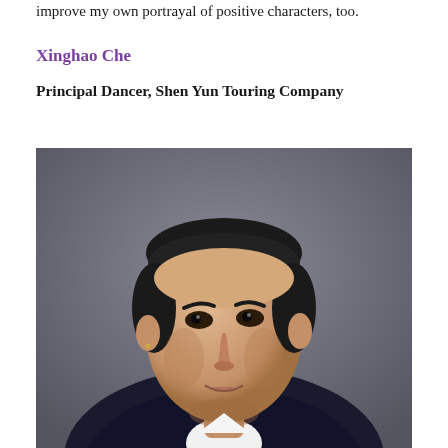improve my own portrayal of positive characters, too.
Xinghao Che
Principal Dancer, Shen Yun Touring Company
[Figure (photo): Professional headshot portrait of Xinghao Che, a man in a dark suit with white shirt, looking upward and to the right, against a dark gray-purple background.]